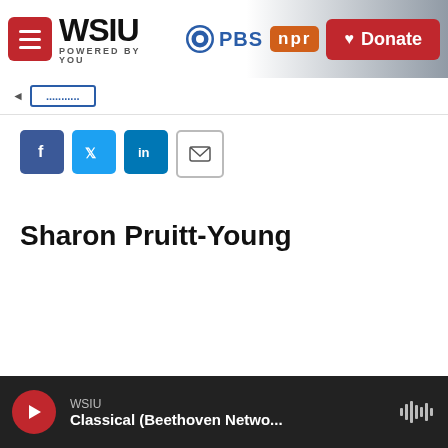WSIU | POWERED BY YOU | PBS | npr | Donate
[Figure (screenshot): Social share buttons: Facebook, Twitter, LinkedIn, Email]
Sharon Pruitt-Young
WSIU | Classical (Beethoven Netwo...